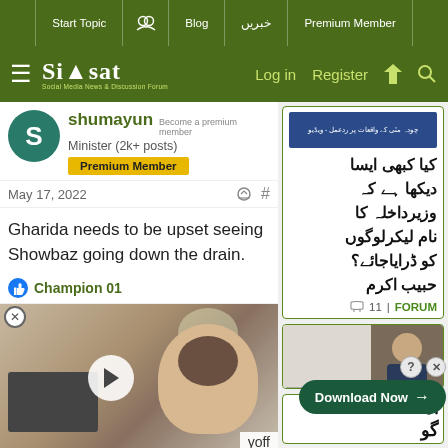Start Topic | Blog | خبریں | Premium Member
Siasat.pk — Social Media News & Discussion Forum — Log in | Register
shumayun — Become a premium member
Minister (2k+ posts)
Premium Member
May 17, 2022
Gharida needs to be upset seeing Showbaz going down the drain.
Champion 01
[Figure (screenshot): Video thumbnail showing a woman sitting at a table with a laptop and flowers]
yoff
[Figure (screenshot): Urdu article card — کیا کبھی ایسا دیکھا ہے کہ وزیرداخلہ کا نام لیکر لوگوں کو ڈرایا جائے؟ حبیب اکرم — 11 comments | FORUM]
[Figure (screenshot): Ad card with document and man in suit image, with X close button]
[Figure (screenshot): Download Now button banner with question mark and X icons]
آد گو (partial Urdu text)